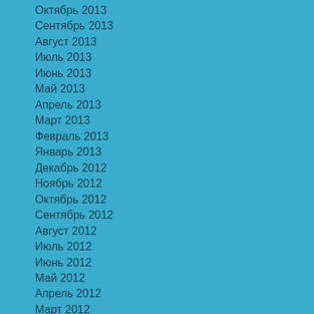Октябрь 2013
Сентябрь 2013
Август 2013
Июль 2013
Июнь 2013
Май 2013
Апрель 2013
Март 2013
Февраль 2013
Январь 2013
Декабрь 2012
Ноябрь 2012
Октябрь 2012
Сентябрь 2012
Август 2012
Июль 2012
Июнь 2012
Май 2012
Апрель 2012
Март 2012
Февраль 2012
Январь 2012
Январь 1970